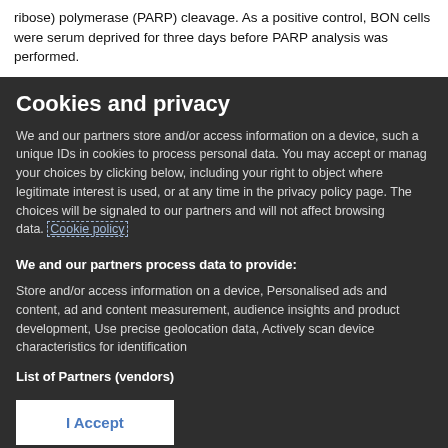ribose) polymerase (PARP) cleavage. As a positive control, BON cells were serum deprived for three days before PARP analysis was performed.
Cookies and privacy
We and our partners store and/or access information on a device, such as unique IDs in cookies to process personal data. You may accept or manage your choices by clicking below, including your right to object where legitimate interest is used, or at any time in the privacy policy page. These choices will be signaled to our partners and will not affect browsing data. Cookie policy
We and our partners process data to provide:
Store and/or access information on a device, Personalised ads and content, ad and content measurement, audience insights and product development, Use precise geolocation data, Actively scan device characteristics for identification
List of Partners (vendors)
I Accept